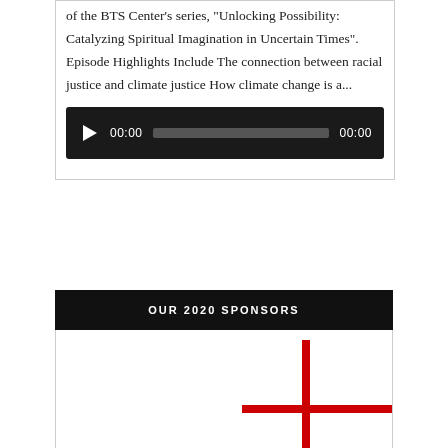of the BTS Center's series, "Unlocking Possibility: Catalyzing Spiritual Imagination in Uncertain Times". Episode Highlights Include The connection between racial justice and climate justice How climate change is a...
[Figure (screenshot): Audio player widget with black background, play button, timestamp 00:00, progress bar, and end time 00:00]
OUR 2020 SPONSORS
[Figure (logo): Partial red cross or plus sign logo on white background]